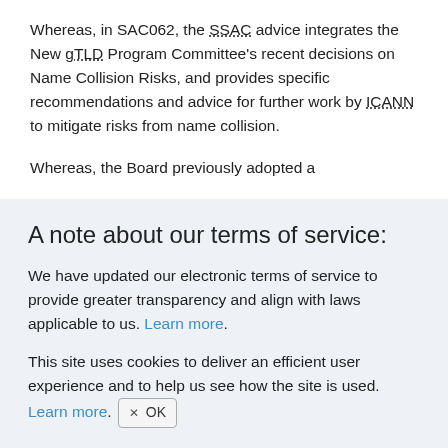Whereas, in SAC062, the SSAC advice integrates the New gTLD Program Committee's recent decisions on Name Collision Risks, and provides specific recommendations and advice for further work by ICANN to mitigate risks from name collision.
Whereas, the Board previously adopted a
A note about our terms of service:
We have updated our electronic terms of service to provide greater transparency and align with laws applicable to us. Learn more.
This site uses cookies to deliver an efficient user experience and to help us see how the site is used. Learn more. ✕ OK